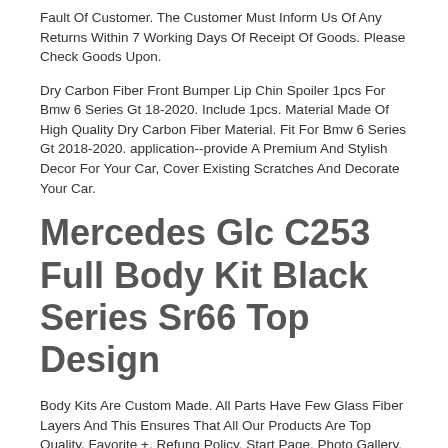Fault Of Customer. The Customer Must Inform Us Of Any Returns Within 7 Working Days Of Receipt Of Goods. Please Check Goods Upon.
Dry Carbon Fiber Front Bumper Lip Chin Spoiler 1pcs For Bmw 6 Series Gt 18-2020. Include 1pcs. Material Made Of High Quality Dry Carbon Fiber Material. Fit For Bmw 6 Series Gt 2018-2020. application--provide A Premium And Stylish Decor For Your Car, Cover Existing Scratches And Decorate Your Car.
Mercedes Glc C253 Full Body Kit Black Series Sr66 Top Design
Body Kits Are Custom Made. All Parts Have Few Glass Fiber Layers And This Ensures That All Our Products Are Top Quality. Favorite +. Refung Policy. Start Page. Photo Gallery. - Boot Spoiler. - Roof Spoiler.
Roof Bar+spots+clear Beacon+air Horns To Fit New Scania 17+ Rs Series High Black. If You Are Not Totally Satisfied With Your Product, You Will Need To Notify Us Within 7 Working Days